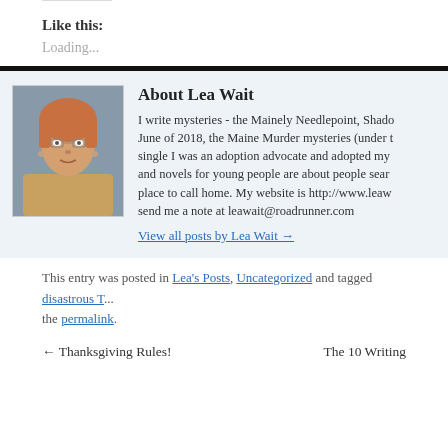Like this:
Loading...
About Lea Wait
I write mysteries - the Mainely Needlepoint, Shado... June of 2018, the Maine Murder mysteries (under t... single I was an adoption advocate and adopted my... and novels for young people are about people sear... place to call home. My website is http://www.leaw... send me a note at leawait@roadrunner.com
View all posts by Lea Wait →
This entry was posted in Lea's Posts, Uncategorized and tagged disastrous T... the permalink.
← Thanksgiving Rules!
The 10 Writing...